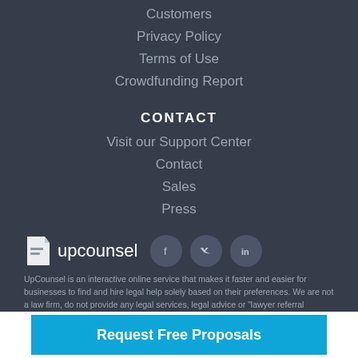Customers
Privacy Policy
Terms of Use
Crowdfunding Report
CONTACT
Visit our Support Center
Contact
Sales
Press
[Figure (logo): UpCounsel logo with document icon and social media icons for Facebook, Twitter, LinkedIn]
UpCounsel is an interactive online service that makes it faster and easier for businesses to find and hire legal help solely based on their preferences. We are not a law firm, do not provide any legal services, legal advice or "lawyer referral services"
Request Free Proposals